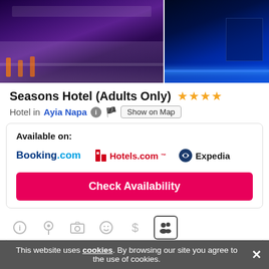[Figure (photo): Two hotel exterior photos side by side: left shows purple-lit building facade at night, right shows blue-lit modern building exterior at night]
Seasons Hotel (Adults Only) ★★★★
Hotel in Ayia Napa  [info icon] [flag] Show on Map
Available on: Booking.com  Hotels.com  Expedia
Check Availability
Hotel for Adults Only
This hotel is available for adults only and does not accommodate ch...
Categories 1
This website uses cookies. By browsing our site you agree to the use of cookies.